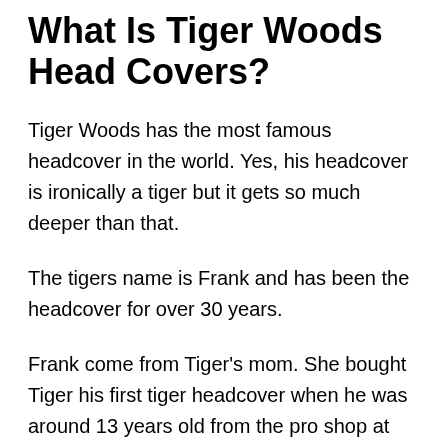What Is Tiger Woods Head Covers?
Tiger Woods has the most famous headcover in the world. Yes, his headcover is ironically a tiger but it gets so much deeper than that.
The tigers name is Frank and has been the headcover for over 30 years.
Frank come from Tiger's mom. She bought Tiger his first tiger headcover when he was around 13 years old from the pro shop at the Big Canyon Country Club in Newport Beach, California as a way to be with Tiger when she couldn't always